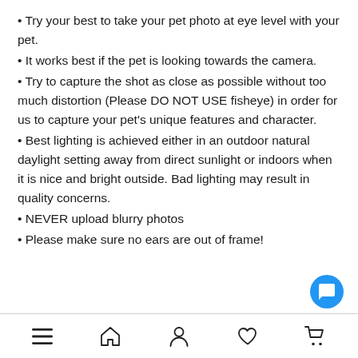Try your best to take your pet photo at eye level with your pet.
It works best if the pet is looking towards the camera.
Try to capture the shot as close as possible without too much distortion (Please DO NOT USE fisheye) in order for us to capture your pet's unique features and character.
Best lighting is achieved either in an outdoor natural daylight setting away from direct sunlight or indoors when it is nice and bright outside. Bad lighting may result in quality concerns.
NEVER upload blurry photos
Please make sure no ears are out of frame!
Navigation bar with menu, home, profile, heart, cart icons